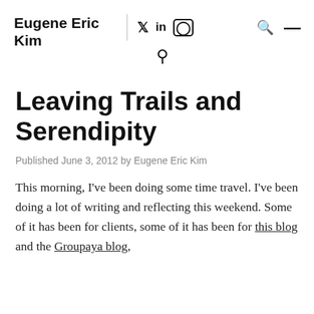Eugene Eric Kim
Leaving Trails and Serendipity
Published June 3, 2012 by Eugene Eric Kim
This morning, I've been doing some time travel. I've been doing a lot of writing and reflecting this weekend. Some of it has been for clients, some of it has been for this blog and the Groupaya blog,